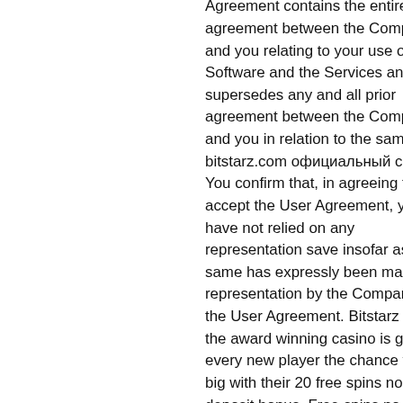Agreement contains the entire agreement between the Company and you relating to your use of the Software and the Services and supersedes any and all prior agreement between the Company and you in relation to the same, bitstarz.com официальный сайт. You confirm that, in agreeing to accept the User Agreement, you have not relied on any representation save insofar as the same has expressly been made a representation by the Company in the User Agreement. Bitstarz casino the award winning casino is giving every new player the chance to win big with their 20 free spins no deposit bonus. Free spins no deposit zní ještě o něco lépe, to jsou totiž otočení zdarma bez nutnosti vkladu (pouze za registraci). 06 z března 2020: hodnocení 4. Bitstarz para yatırma bonusu yok code, bitstarz zatočení zdarma. Až 250 zatočení v. Bitstarz casino offers new players a 20